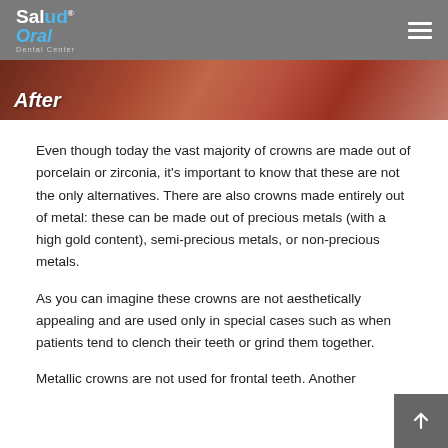Salud Oral Dental Center
[Figure (photo): An 'After' image strip showing a close-up dental photo with reddish/brown tones, labeled 'After' in white italic text on the left side.]
Even though today the vast majority of crowns are made out of porcelain or zirconia, it's important to know that these are not the only alternatives. There are also crowns made entirely out of metal: these can be made out of precious metals (with a high gold content), semi-precious metals, or non-precious metals.
As you can imagine these crowns are not aesthetically appealing and are used only in special cases such as when patients tend to clench their teeth or grind them together.
Metallic crowns are not used for frontal teeth. Another